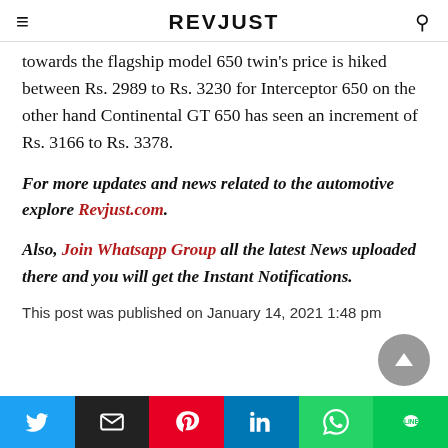REVJUST
towards the flagship model 650 twin's price is hiked between Rs. 2989 to Rs. 3230 for Interceptor 650 on the other hand Continental GT 650 has seen an increment of Rs. 3166 to Rs. 3378.
For more updates and news related to the automotive explore Revjust.com.
Also, Join Whatsapp Group all the latest News uploaded there and you will get the Instant Notifications.
This post was published on January 14, 2021 1:48 pm
Twitter | Email | Pinterest | LinkedIn | WhatsApp | Line